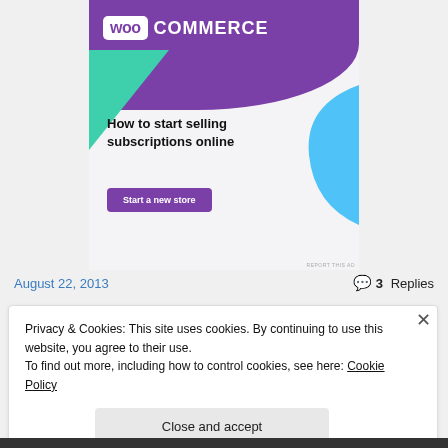[Figure (illustration): WooCommerce advertisement banner with purple background, WooCommerce logo top left, green triangle shape on left, blue curved shape on right, headline 'How to start selling subscriptions online', and purple 'Start a new store' button]
August 22, 2013
3 Replies
Privacy & Cookies: This site uses cookies. By continuing to use this website, you agree to their use.
To find out more, including how to control cookies, see here: Cookie Policy
Close and accept